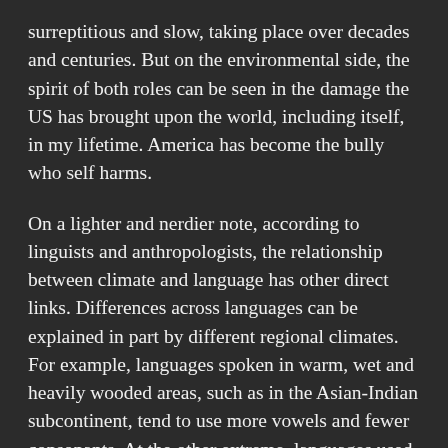surreptitious and slow, taking place over decades and centuries. But on the environmental side, the spirit of both roles can be seen in the damage the US has brought upon the world, including itself, in my lifetime. America has become the bully who self harms.
On a lighter and nerdier note, according to linguists and anthropologists, the relationship between climate and language has other direct links. Differences across languages can be explained in part by different regional climates. For example, languages spoken in warm, wet and heavily wooded areas, such as in the Asian-Indian subcontinent, tend to use more vowels and fewer consonants. At the other extreme, languages used in arid, desert-like regions are more consonant heavy. One of the explanations for this has to do with the effects of dryness on the vocal cords (all vowel sounds are voiced, involving vibration of the vocal cords).